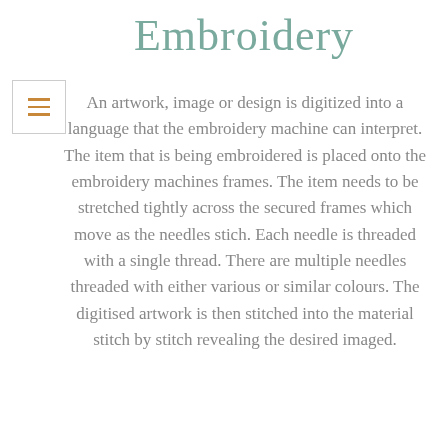Embroidery
An artwork, image or design is digitized into a language that the embroidery machine can interpret. The item that is being embroidered is placed onto the embroidery machines frames. The item needs to be stretched tightly across the secured frames which move as the needles stich. Each needle is threaded with a single thread. There are multiple needles threaded with either various or similar colours. The digitised artwork is then stitched into the material stitch by stitch revealing the desired imaged.